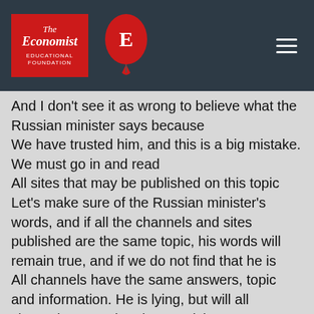The Economist Educational Foundation
And I don't see it as wrong to believe what the Russian minister says because
We have trusted him, and this is a big mistake. We must go in and read
All sites that may be published on this topic
Let's make sure of the Russian minister's words, and if all the channels and sites published are the same topic, his words will remain true, and if we do not find that he is
All channels have the same answers, topic and information. He is lying, but will all channels agree that they are lying?
But fortunately, Marina discovered this lie, and we thank her.